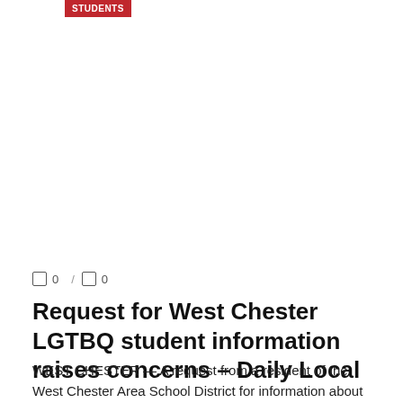STUDENTS
0  /  0
Request for West Chester LGTBQ student information raises concerns – Daily Local
WEST CHESTER — A request from a resident of the West Chester Area School District for information about LGBTQ students at her schools has left some ...